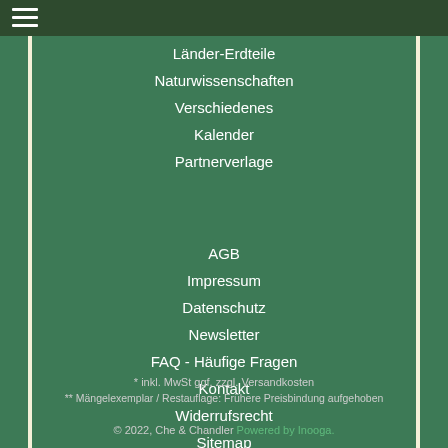Länder-Erdteile
Naturwissenschaften
Verschiedenes
Kalender
Partnerverlage
AGB
Impressum
Datenschutz
Newsletter
FAQ - Häufige Fragen
Kontakt
Widerrufsrecht
Sitemap
* inkl. MwSt ggf. zzgl. Versandkosten
** Mängelexemplar / Restauflage: Frühere Preisbindung aufgehoben
© 2022, Che & Chandler Powered by Inooga.